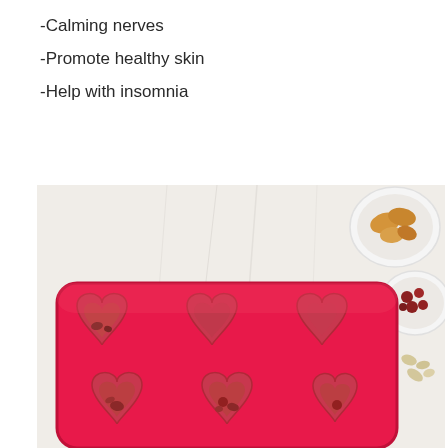-Calming nerves
-Promote healthy skin
-Help with insomnia
[Figure (photo): A red/pink silicone heart-shaped ice cube tray with 6 heart-shaped molds, some filled with reddish liquid and small fruits. The tray sits on a white wrinkled surface. In the upper right corner are two small white ceramic bowls containing dried golden fruits and small red dried fruits. Some crumbled herbs/spices are scattered on the surface to the right.]